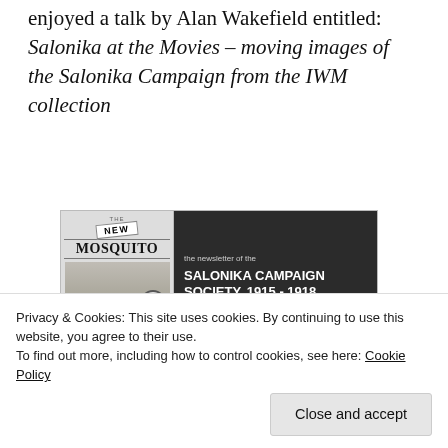enjoyed a talk by Alan Wakefield entitled: Salonika at the Movies – moving images of the Salonika Campaign from the IWM collection
[Figure (other): Newsletter cover image: 'The New Mosquito – the newsletter of the Salonika Campaign Society, 1915-1918, issue no. 16 – Sep. 2007' with a black and white building photograph below]
Privacy & Cookies: This site uses cookies. By continuing to use this website, you agree to their use.
To find out more, including how to control cookies, see here: Cookie Policy
Close and accept